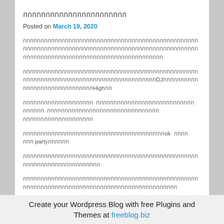กกกกกกกกกกกกกกกกกกกกกก
Posted on March 19, 2020
กกกกกกกกกกกกกกกกกกกกกกกกกกกกกกกกกกกกกกกกกกกกกกกกกกกกกกกกกกกกกกกกกกกกกกกกกกกกกกกกกกกกกกกกกกกกกกกกกกกกกกกกกกกกกกกกกกกกกกก
กกกกกกกกกกกกกกกกกกกกกกกกกกกกกกกกกกกกกกกกกกกกกกกกกกกกกกกกกกกกกกกกกกกกกกกกกกกกกกกกกกกกกกกกDJกกกกกกกกกกกกกกกกกกกกกกกกกกกกกกHighกก
กกกกกกกกกกกกกกกกกกกก กกกกกกกกกกกกกกกกกกกกกกกกกกกกกกกกกก กกกกกกกกกกกกกกกกกกกกกกกกกกกกกกกก
กกกกกกกกกกกกกกกกกกกกกกกกกกกกกกกกกกกกกก!กกok กกกกกกก partyกกกกกก
กกกกกกกกกกกกกกกกกกกกกกกกกกกกกกกกกกกกกกกกกกกกกกกกกกกกกกกกกกกกกกกกกกกกกกกก
กกกกกกกกกกกกกกกกกกกกกกกกกกกกกกกกกกกกกกกกกกกกกกกกกกกกกกกกกกกกกกกกกกกกกกกกกกกกกกกกกกกกกกกกกกกกกก
Create your Wordpress Blog with free Plugins and Themes at freeblog.biz